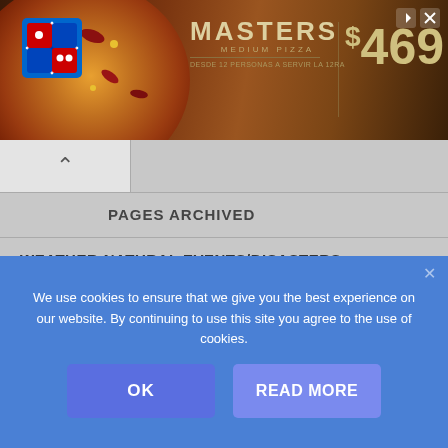[Figure (photo): Domino's Pizza Masters advertisement banner showing a pizza on the left, Domino's logo, and text 'MASTERS MEDIUM PIZZA $469']
PAGES ARCHIVED
WEATHER-NATURAL EVENTS/DISASTERS
WEATHER
HURRICANE
EARTHQUAKES & TERREMOTOS
TSUNAMI – MAREMOTO
We use cookies to ensure that we give you the best experience on our website. By continuing to use this site you agree to the use of cookies.